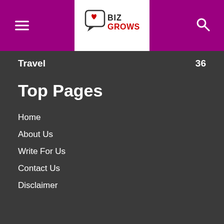[Figure (logo): BizGrows logo with speech bubble icon containing a heart, text BIZ in dark color and GROWS in red]
Travel  36
Top Pages
Home
About Us
Write For Us
Contact Us
Disclaimer